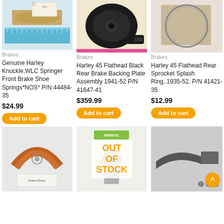[Figure (photo): Brake springs with ruler and tag]
Brakes
Genuine Harley Knuckle,WLC Springer Front Brake Shoe Springs*NOS* P/N 44484-35
$24.99
Add to cart
[Figure (photo): Black brake backing plate assembly]
Brakes
Harley 45 Flathead Black Rear Brake Backing Plate Assembly 1941-52 P/N 41647-41
$359.99
Add to cart
[Figure (photo): Sprocket splash ring - circular part on beige background]
Brakes
Harley 45 Flathead Rear Sprocket Splash Ring..1935-52. P/N 41421-35
$12.99
Add to cart
[Figure (photo): Brake shoes on white surface with label]
[Figure (photo): Part with green label 83960-51, Out of Stock overlay]
[Figure (photo): Brake lever/linkage hardware parts on gray background]